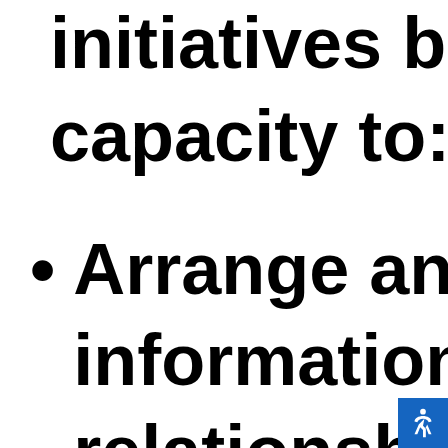initiatives becau capacity to:
Arrange and fa information ex relationships a